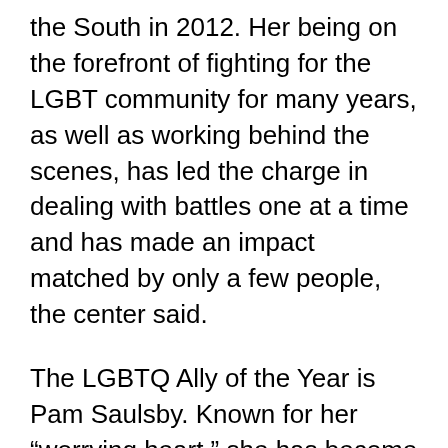the South in 2012. Her being on the forefront of fighting for the LGBT community for many years, as well as working behind the scenes, has led the charge in dealing with battles one at a time and has made an impact matched by only a few people, the center said.
The LGBTQ Ally of the Year is Pam Saulsby. Known for her “worrying heart,” she has become a champion for the LGBT community after her daughter came out. She saw that there were different rules for those who were straight versus those who were gay. Saulsby professionally has worked as a news anchor and is an Emmy winner for her journalistic endeavors. During her free time, she has become an accomplished singer